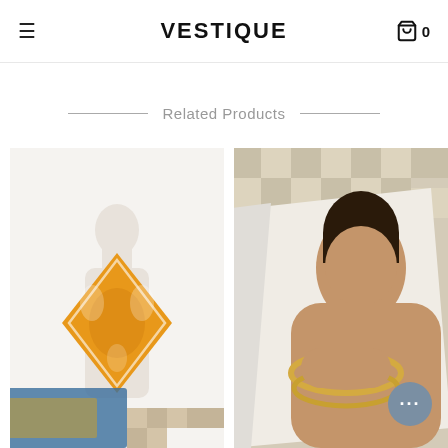VESTIQUE
Related Products
[Figure (photo): Yellow/orange paisley bandana scarf displayed on a white mannequin bust, with colorful magazines and a checkered surface in the background.]
[Figure (photo): A fashion model wearing gold bangle bracelets, photographed on top of an open magazine, with a tiled background.]